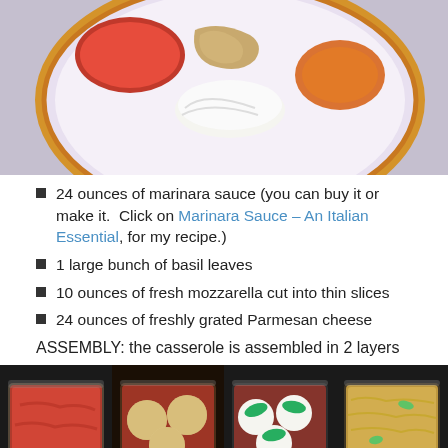[Figure (photo): Decorated ceramic plate with mozzarella rolls, pasta, and marinara sauce on a purple background]
24 ounces of marinara sauce (you can buy it or make it.  Click on Marinara Sauce – An Italian Essential, for my recipe.)
1 large bunch of basil leaves
10 ounces of fresh mozzarella cut into thin slices
24 ounces of freshly grated Parmesan cheese
ASSEMBLY: the casserole is assembled in 2 layers
[Figure (photo): Four step-by-step photos showing casserole assembly: tomato sauce layer, mozzarella slices with breading, basil and mozzarella layer, and Parmesan cheese topping]